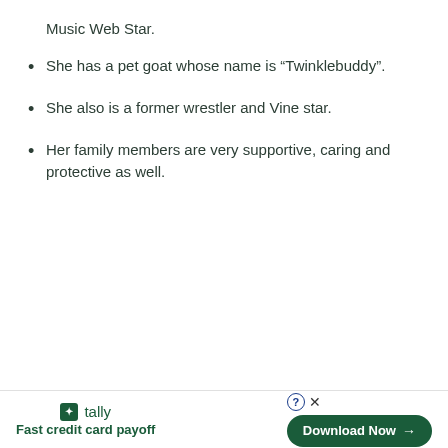Music Web Star.
She has a pet goat whose name is “Twinklebuddy”.
She also is a former wrestler and Vine star.
Her family members are very supportive, caring and protective as well.
[Figure (infographic): Advertisement banner for Tally app with tagline 'Fast credit card payoff' and a 'Download Now' button.]